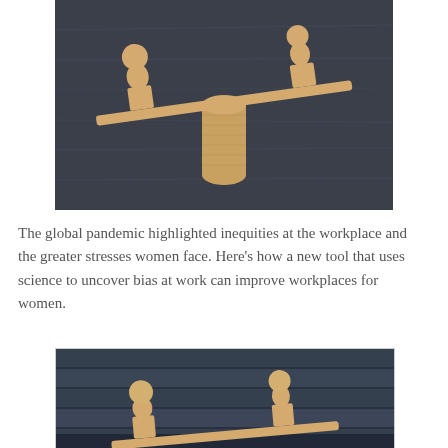[Figure (photo): A wooden balance/seesaw toy with two wooden figurines on each end, tilted, with a cylindrical wooden fulcrum in the center, set against a dark chalkboard background.]
The global pandemic highlighted inequities at the workplace and the greater stresses women face. Here’s how a new tool that uses science to uncover bias at work can improve workplaces for women.
[Figure (photo): A wooden balance/seesaw toy with two wooden figurines, close-up view, set against a dark wooden plank background.]